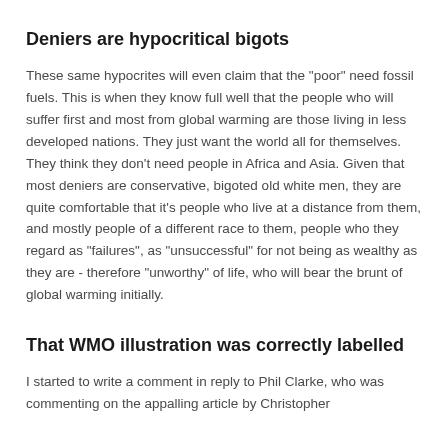Deniers are hypocritical bigots
These same hypocrites will even claim that the "poor" need fossil fuels. This is when they know full well that the people who will suffer first and most from global warming are those living in less developed nations. They just want the world all for themselves. They think they don't need people in Africa and Asia. Given that most deniers are conservative, bigoted old white men, they are quite comfortable that it's people who live at a distance from them, and mostly people of a different race to them, people who they regard as "failures", as "unsuccessful" for not being as wealthy as they are - therefore "unworthy" of life, who will bear the brunt of global warming initially.
That WMO illustration was correctly labelled
I started to write a comment in reply to Phil Clarke, who was commenting on the appalling article by Christopher